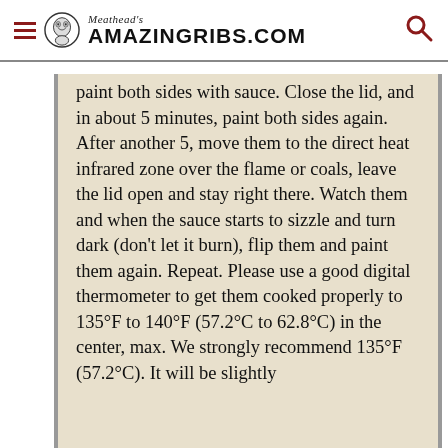Meathead's AmazingRibs.com
paint both sides with sauce. Close the lid, and in about 5 minutes, paint both sides again. After another 5, move them to the direct heat infrared zone over the flame or coals, leave the lid open and stay right there. Watch them and when the sauce starts to sizzle and turn dark (don't let it burn), flip them and paint them again. Repeat. Please use a good digital thermometer to get them cooked properly to 135°F to 140°F (57.2°C to 62.8°C) in the center, max. We strongly recommend 135°F (57.2°C). It will be slightly